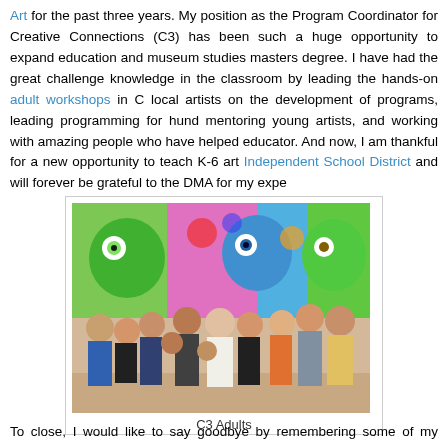Art for the past three years. My position as the Program Coordinator for Creative Connections (C3) has been such a huge opportunity to expand education and museum studies masters degree. I have had the great challenge knowledge in the classroom by leading the hands-on adult workshops in C local artists on the development of programs, leading programming for hundreds mentoring young artists, and working with amazing people who have helped educator. And now, I am thankful for a new opportunity to teach K-6 art Independent School District and will forever be grateful to the DMA for my experience.
[Figure (photo): Group of adults sitting and standing in front of a colorful graffiti-style mural with cartoon characters. The group appears to be participating in a workshop or gathering.]
C3 Adults
To close, I would like to say goodbye by remembering some of my favori